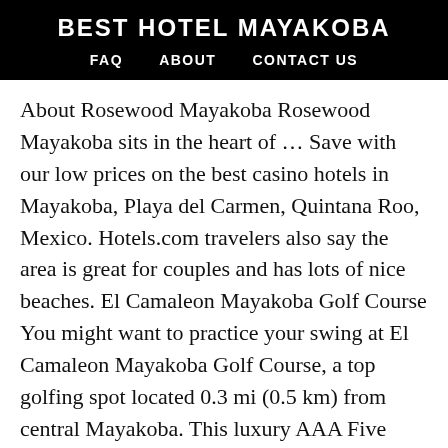BEST HOTEL MAYAKOBA
FAQ   ABOUT   CONTACT US
About Rosewood Mayakoba Rosewood Mayakoba sits in the heart of … Save with our low prices on the best casino hotels in Mayakoba, Playa del Carmen, Quintana Roo, Mexico. Hotels.com travelers also say the area is great for couples and has lots of nice beaches. El Camaleon Mayakoba Golf Course You might want to practice your swing at El Camaleon Mayakoba Golf Course, a top golfing spot located 0.3 mi (0.5 km) from central Mayakoba. This luxury AAA Five Diamond Award winner resort in the Riviera Maya is